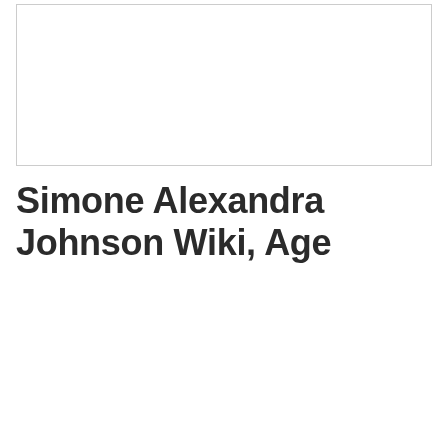[Figure (photo): Empty white image placeholder box with a light gray border]
Simone Alexandra Johnson Wiki, Age